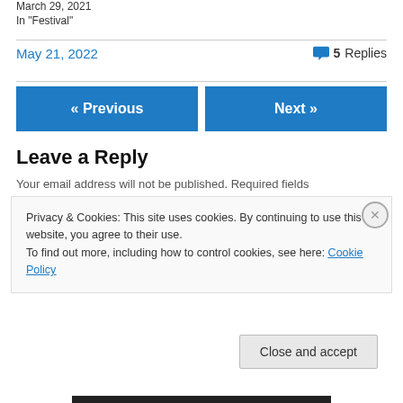March 29, 2021
In "Festival"
May 21, 2022  💬 5 Replies
« Previous
Next »
Leave a Reply
Your email address will not be published. Required fields
Privacy & Cookies: This site uses cookies. By continuing to use this website, you agree to their use.
To find out more, including how to control cookies, see here: Cookie Policy
Close and accept